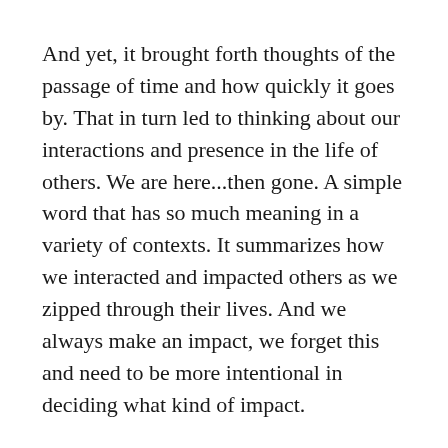And yet, it brought forth thoughts of the passage of time and how quickly it goes by. That in turn led to thinking about our interactions and presence in the life of others. We are here...then gone. A simple word that has so much meaning in a variety of contexts. It summarizes how we interacted and impacted others as we zipped through their lives. And we always make an impact, we forget this and need to be more intentional in deciding what kind of impact.
From birth to death and yes, even after death our presence has been felt by so many people.